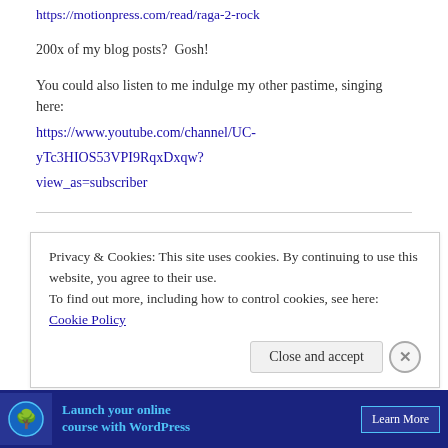https://motionpress.com/read/raga-2-rock
200x of my blog posts?  Gosh!
You could also listen to me indulge my other pastime, singing here:
https://www.youtube.com/channel/UC-yTc3HIOS53VPI9RqxDxqw?view_as=subscriber
Music is life and life is music
I love, absolutely love, music. Favourite genres: rock, metal, jazz, classical with some inordinate obsession with prog rock. Favourite bands and artists: Ilayaraja, Beatles, King Crimson, Pink Floyd, Stevie
Privacy & Cookies: This site uses cookies. By continuing to use this website, you agree to their use.
To find out more, including how to control cookies, see here: Cookie Policy
[Figure (other): Ad banner for launching online course with WordPress, with tree logo icon and Learn More button]